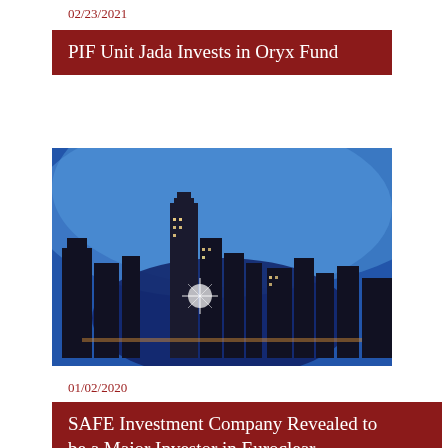02/23/2021
PIF Unit Jada Invests in Oryx Fund
[Figure (photo): City skyline at dusk with illuminated skyscrapers against a blue sky, featuring a large reflective bean/sculpture in the foreground]
01/02/2020
SAFE Investment Company Revealed to be a Major Investor in Euroclear